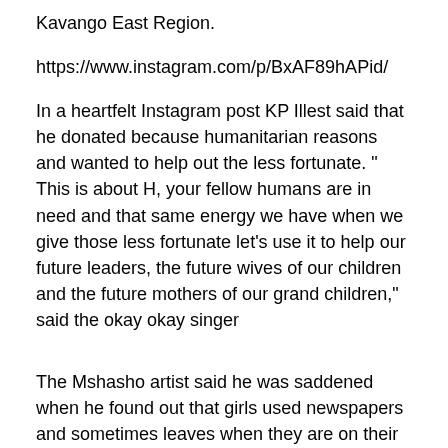Kavango East Region.
https://www.instagram.com/p/BxAF89hAPid/
In a heartfelt Instagram post KP Illest said that he donated because humanitarian reasons and wanted to help out the less fortunate. "
This is about H, your fellow humans are in need and that same energy we have when we give those less fortunate let's use it to help our future leaders, the future wives of our children and the future mothers of our grand children," said the okay okay singer
The Mshasho artist said he was saddened when he found out that girls used newspapers and sometimes leaves when they are on their menstruation cycle and this prompted him to do something about their situation. “When I heard that some of these girls use newspaper or leaves it broke my heart!" he